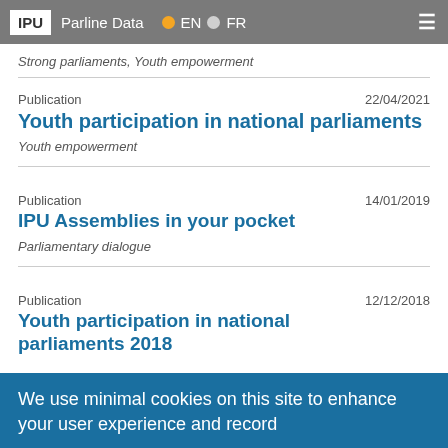IPU  Parline Data  EN  FR
Strong parliaments, Youth empowerment
Publication  22/04/2021
Youth participation in national parliaments
Youth empowerment
Publication  14/01/2019
IPU Assemblies in your pocket
Parliamentary dialogue
Publication  12/12/2018
Youth participation in national parliaments 2018
We use minimal cookies on this site to enhance your user experience and record